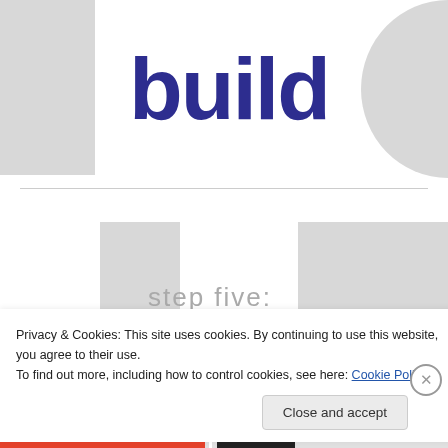[Figure (logo): Large bold 'build' text in dark navy/purple color, with grey rectangular bars on left and right sides forming a decorative layout element]
step five:
Privacy & Cookies: This site uses cookies. By continuing to use this website, you agree to their use.
To find out more, including how to control cookies, see here: Cookie Policy
Close and accept